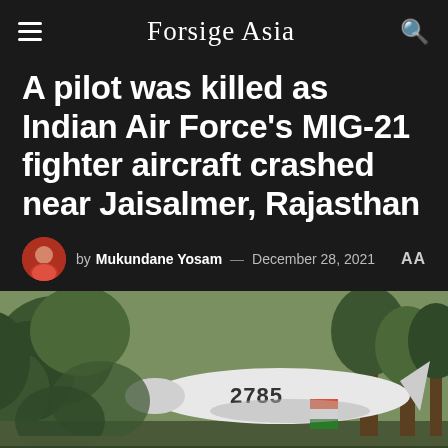Forsige Asia
A pilot was killed as Indian Air Force’s MIG-21 fighter aircraft crashed near Jaisalmer, Rajasthan
by Mukundane Yosam — December 28, 2021 AA
[Figure (photo): Photo of crashed MIG-21 fighter aircraft numbered 2785 with Indian flag markings, surrounded by trees and foliage]